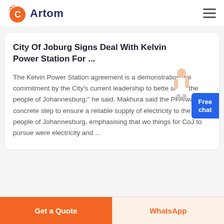Artom
City Of Joburg Signs Deal With Kelvin Power Station For ...
The Kelvin Power Station agreement is a demonstration the commitment by the City's current leadership to better serve the people of Johannesburg," he said. Makhura said the PPA was a concrete step to ensure a reliable supply of electricity to the people of Johannesburg, emphasising that wo things for CoJ to pursue were electricity and ...
Get a Quote | WhatsApp